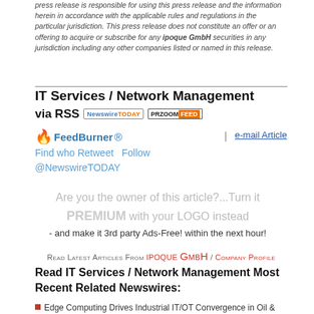press release is responsible for using this press release and the information herein in accordance with the applicable rules and regulations in the particular jurisdiction. This press release does not constitute an offer or an offering to acquire or subscribe for any ipoque GmbH securities in any jurisdiction including any other companies listed or named in this release.
IT Services / Network Management via RSS [NewswireTODAY] [PRZOOM FEED]
[Figure (logo): FeedBurner logo with flame icon]
| e-mail Article
Find who Retweet  Follow @NewswireTODAY
Are you the owner of this article?...Turn it PREMIUM with your LOGO instead - and make it 3rd party Ads-Free! within the next hour!
Read Latest Articles From IPOQUE GmbH / Company Profile
Read IT Services / Network Management Most Recent Related Newswires:
Edge Computing Drives Industrial IT/OT Convergence in Oil & Gas,